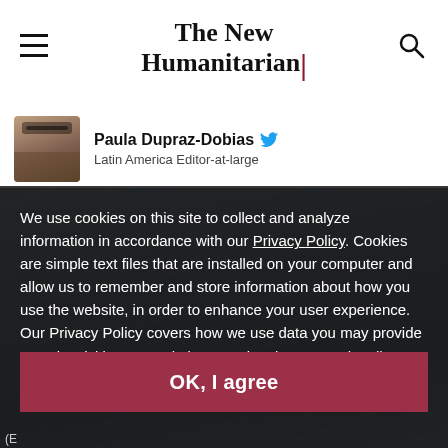The New Humanitarian
Paula Dupraz-Dobias
Latin America Editor-at-large
We use cookies on this site to collect and analyze information in accordance with our Privacy Policy. Cookies are simple text files that are installed on your computer and allow us to remember and store information about how you use the website, in order to enhance your user experience. Our Privacy Policy covers how we use data you may provide to us by visiting our website or registering as a subscriber. By continuing to use this website, you give your consent to our Privacy Policy and to our use of cookies.
OK, I agree
(E...